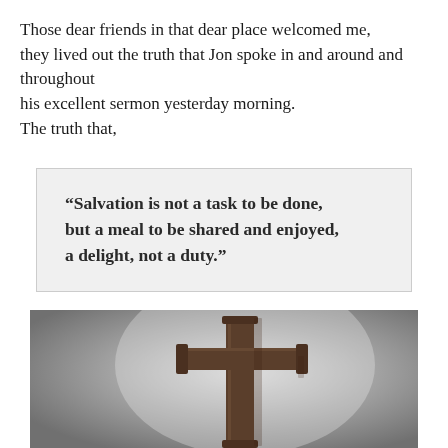Those dear friends in that dear place welcomed me, they lived out the truth that Jon spoke in and around and throughout his excellent sermon yesterday morning. The truth that,
“Salvation is not a task to be done, but a meal to be shared and enjoyed, a delight, not a duty.”
[Figure (photo): A wooden Christian cross photographed against a grey gradient background with soft spotlight lighting from behind.]